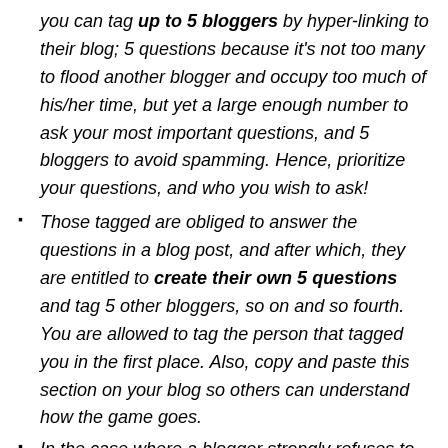you can tag up to 5 bloggers by hyper-linking to their blog; 5 questions because it's not too many to flood another blogger and occupy too much of his/her time, but yet a large enough number to ask your most important questions, and 5 bloggers to avoid spamming. Hence, prioritize your questions, and who you wish to ask!
Those tagged are obliged to answer the questions in a blog post, and after which, they are entitled to create their own 5 questions and tag 5 other bloggers, so on and so fourth. You are allowed to tag the person that tagged you in the first place. Also, copy and paste this section on your blog so others can understand how the game goes.
In the case where a blogger strongly refuses to answer a question, he/she must instead post a nice anime